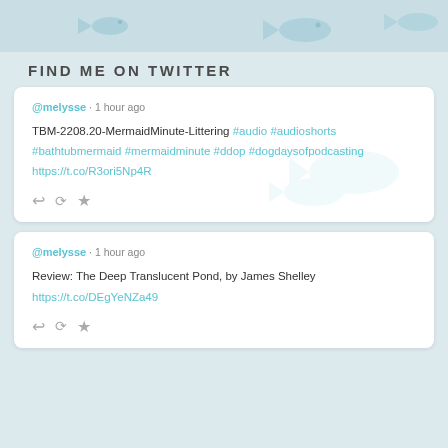FIND ME ON TWITTER
@melysse · 1 hour ago
TBM-2208.20-MermaidMinute-Littering #audio #audioshorts #bathtubmermaid #mermaidminute #ddop #dogdaysofpodcasting https://t.co/R3ori5Np4R
@melysse · 1 hour ago
Review: The Deep Translucent Pond, by James Shelley https://t.co/DEgYeNZa49